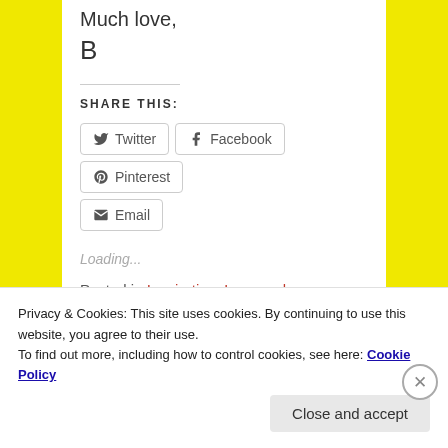Much love,
B
SHARE THIS:
Twitter  Facebook  Pinterest  Email
Loading...
Posted in Inspiration, Love and Relationship
Privacy & Cookies: This site uses cookies. By continuing to use this website, you agree to their use.
To find out more, including how to control cookies, see here: Cookie Policy
Close and accept